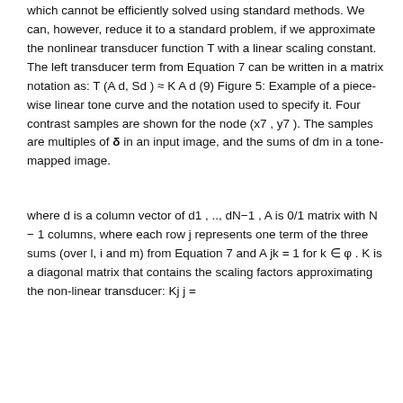which cannot be efficiently solved using standard methods. We can, however, reduce it to a standard problem, if we approximate the nonlinear transducer function T with a linear scaling constant. The left transducer term from Equation 7 can be written in a matrix notation as: T (A d, Sd ) ≈ K A d (9) Figure 5: Example of a piece-wise linear tone curve and the notation used to specify it. Four contrast samples are shown for the node (x7 , y7 ). The samples are multiples of δ in an input image, and the sums of dm in a tone-mapped image.
where d is a column vector of d1 , .., dN−1 , A is 0/1 matrix with N − 1 columns, where each row j represents one term of the three sums (over l, i and m) from Equation 7 and A jk = 1 for k ∈ φ . K is a diagonal matrix that contains the scaling factors approximating the non-linear transducer: Kj j =